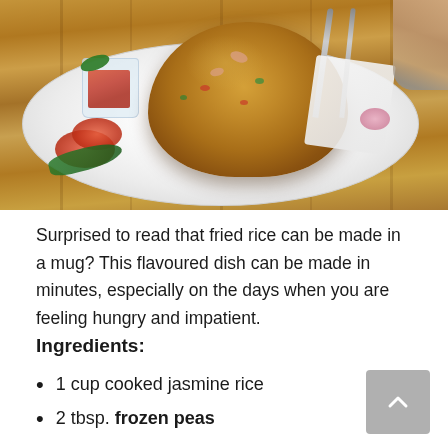[Figure (photo): A plate of fried rice shaped in a mound, served on a white plate with decorative flower pattern, sliced tomatoes and a small glass cup with vegetables on the side, fork and knife present, wooden table surface visible]
Surprised to read that fried rice can be made in a mug? This flavoured dish can be made in minutes, especially on the days when you are feeling hungry and impatient.
Ingredients:
1 cup cooked jasmine rice
2 tbsp. frozen peas